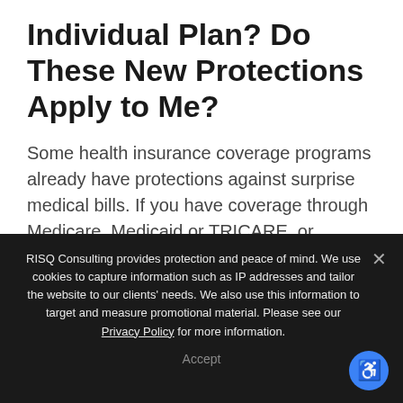Individual Plan? Do These New Protections Apply to Me?
Some health insurance coverage programs already have protections against surprise medical bills. If you have coverage through Medicare, Medicaid or TRICARE, or receive care through the Indian Health Services or Veterans Health Administration, you don't need to worry because you're already protected against surprise medical bills from providers and
RISQ Consulting provides protection and peace of mind. We use cookies to capture information such as IP addresses and tailor the website to our clients' needs. We also use this information to target and measure promotional material. Please see our Privacy Policy for more information.
Accept